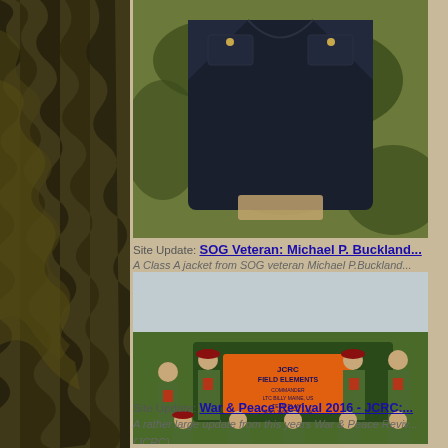[Figure (photo): A dark navy Class A military jacket with gold buttons displayed on a camouflage fabric background]
Site Update: SOG Veteran: Michael P. Buckland...
A Class A jacket from SOG veteran Michael P.Buckland...
[Figure (photo): Group photo of military reenactors in JCRC Field Elements uniforms with red berets, standing and kneeling in front of a sign reading JCRC FIELD ELEMENTS]
Site Update: War & Peace Revival 2016 - JCRC:...
A rather large update from this years War & Peace Reviv... (JCRC)
[Figure (photo): Interior room photo showing hooks on a wall and a window with a blind]